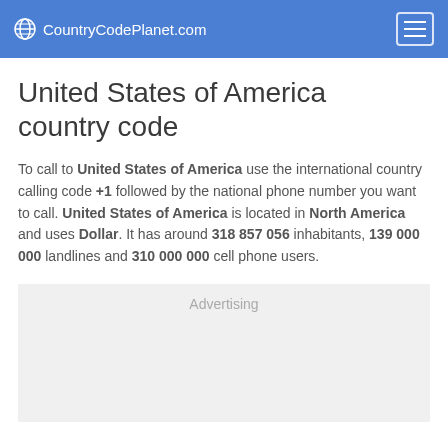CountryCodePlanet.com
United States of America country code
To call to United States of America use the international country calling code +1 followed by the national phone number you want to call. United States of America is located in North America and uses Dollar. It has around 318 857 056 inhabitants, 139 000 000 landlines and 310 000 000 cell phone users.
Advertising